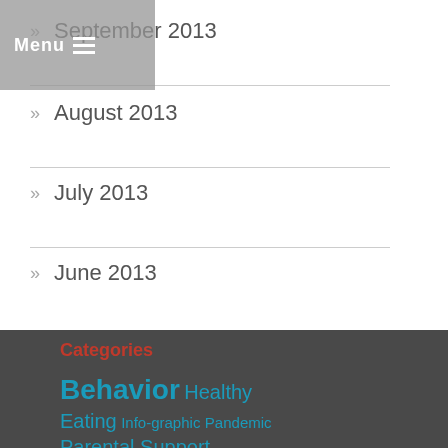Menu
September 2013
August 2013
July 2013
June 2013
Categories
Behavior Healthy Eating Info-graphic Pandemic Parental Support